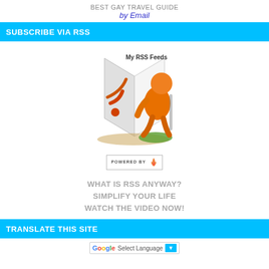BEST GAY TRAVEL GUIDE
by Email
SUBSCRIBE VIA RSS
[Figure (illustration): Orange cartoon figure reading a book with RSS logo, labeled 'My RSS Feeds', with a 'POWERED BY' badge below featuring a flame icon]
WHAT IS RSS ANYWAY?
SIMPLIFY YOUR LIFE
WATCH THE VIDEO NOW!
TRANSLATE THIS SITE
[Figure (screenshot): Google Translate 'Select Language' dropdown button]